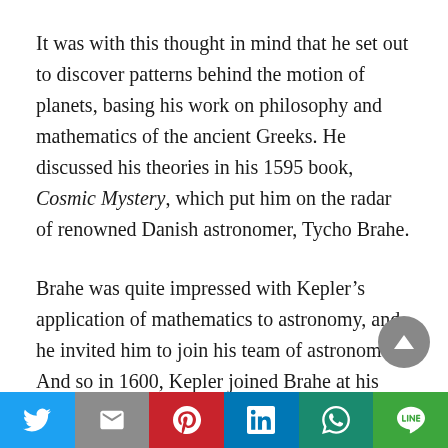It was with this thought in mind that he set out to discover patterns behind the motion of planets, basing his work on philosophy and mathematics of the ancient Greeks. He discussed his theories in his 1595 book, Cosmic Mystery, which put him on the radar of renowned Danish astronomer, Tycho Brahe.
Brahe was quite impressed with Kepler’s application of mathematics to astronomy, and he invited him to join his team of astronomers. And so in 1600, Kepler joined Brahe at his observatory in Prague. Brahe’s team had charted planet paths for many years, they could not see any logical order in the data they had collected. Kepler